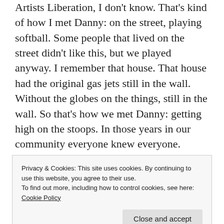Artists Liberation, I don't know. That's kind of how I met Danny: on the street, playing softball. Some people that lived on the street didn't like this, but we played anyway. I remember that house. That house had the original gas jets still in the wall. Without the globes on the things, still in the wall. So that's how we met Danny: getting high on the stoops. In those years in our community everyone knew everyone.
The Dead was one of the bands that we could count on to be supportive of our activities and come and play for
Privacy & Cookies: This site uses cookies. By continuing to use this website, you agree to their use.
To find out more, including how to control cookies, see here: Cookie Policy
And there were some bands that would play with us and